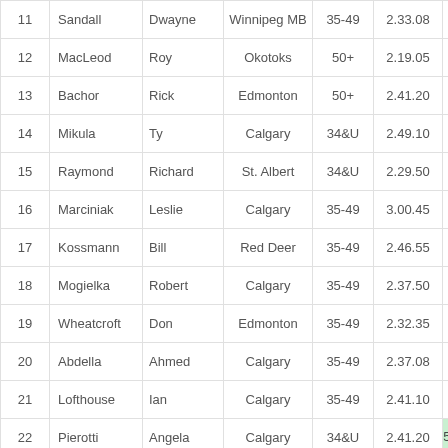| # | Last Name | First Name | City | Age | Col6 | Col7 | Col8 |
| --- | --- | --- | --- | --- | --- | --- | --- |
| 11 | Sandall | Dwayne | Winnipeg MB | 35-49 | 2.33.08 | 5.16.47 | 8 |
| 12 | MacLeod | Roy | Okotoks | 50+ | 2.19.05 | 4.58.20 | 8 |
| 13 | Bachor | Rick | Edmonton | 50+ | 2.41.20 | 5.42.10 | 8 |
| 14 | Mikula | Ty | Calgary | 34&U | 2.49.10 | 5.52.17 | 9 |
| 15 | Raymond | Richard | St. Albert | 34&U | 2.29.50 | 5.30.09 | 8 |
| 16 | Marciniak | Leslie | Calgary | 35-49 | 3.00.45 | 6.12.39 | 9 |
| 17 | Kossmann | Bill | Red Deer | 35-49 | 2.46.55 | 5.46.35 | 9 |
| 18 | Mogielka | Robert | Calgary | 35-49 | 2.37.50 | 5.34.04 | 8 |
| 19 | Wheatcroft | Don | Edmonton | 35-49 | 2.32.35 | 5.27.44 | 8 |
| 20 | Abdella | Ahmed | Calgary | 35-49 | 2.37.08 | 5.26.20 | 8 |
| 21 | Lofthouse | Ian | Calgary | 35-49 | 2.41.10 | 5.36.21 | 8 |
| 22 | Pierotti | Angela | Calgary | 34&U | 2.41.20 | 5.42.10 | 9 |
| 23 | Hutchence | Jan | Calgary | 50+ | 3.01.30 | 6.16.20 |  |